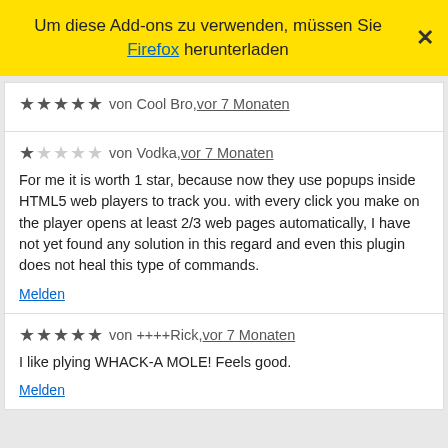Um diese Add-ons zu verwenden, müssen Sie Firefox herunterladen
★★★★★ von Cool Bro, vor 7 Monaten
★☆☆☆☆ von Vodka, vor 7 Monaten
For me it is worth 1 star, because now they use popups inside HTML5 web players to track you. with every click you make on the player opens at least 2/3 web pages automatically, I have not yet found any solution in this regard and even this plugin does not heal this type of commands.
Melden
★★★★★ von ++++Rick, vor 7 Monaten
I like plying WHACK-A MOLE! Feels good.
Melden